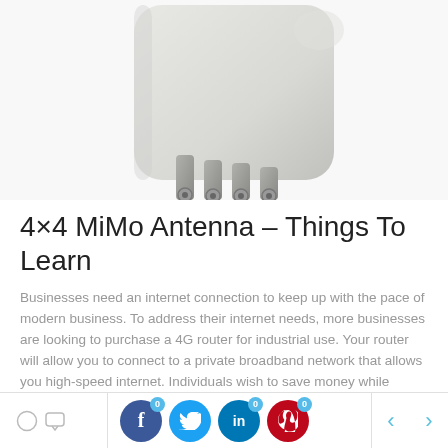[Figure (photo): A white 4x4 MiMo antenna device with four metal connector ports visible at the bottom, photographed against a white background.]
4×4 MiMo Antenna – Things To Learn
Businesses need an internet connection to keep up with the pace of modern business. To address their internet needs, more businesses are looking to purchase a 4G router for industrial use. Your router will allow you to connect to a private broadband network that allows you high-speed internet. Individuals wish to save money while enjoying [...]
0 comments | Facebook 0 | Twitter 0 | LinkedIn 0 | Pinterest 0 | < >